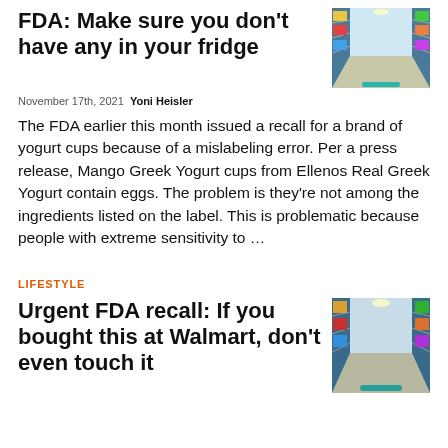FDA: Make sure you don't have any in your fridge
[Figure (photo): Grocery store aisle from cart perspective]
November 17th, 2021  Yoni Heisler
The FDA earlier this month issued a recall for a brand of yogurt cups because of a mislabeling error. Per a press release, Mango Greek Yogurt cups from Ellenos Real Greek Yogurt contain eggs. The problem is they're not among the ingredients listed on the label. This is problematic because people with extreme sensitivity to …
LIFESTYLE
Urgent FDA recall: If you bought this at Walmart, don't even touch it
[Figure (photo): Grocery store aisle from cart perspective]